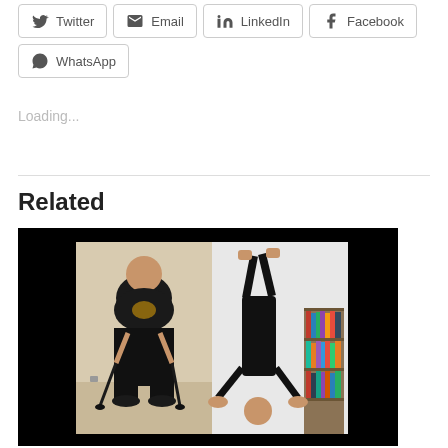Twitter | Email | LinkedIn | Facebook | WhatsApp (share buttons)
Loading...
Related
[Figure (photo): Side-by-side before/after photos: left shows a heavy man standing with two walking canes wearing a black t-shirt and black pants; right shows a person doing a handstand against a wall next to a bookshelf.]